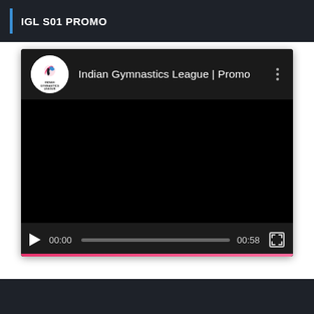IGL S01 PROMO
[Figure (screenshot): Video player showing 'Indian Gymnastics League | Promo' with channel logo, black video area, play button, progress bar showing 00:00 / 00:58, and fullscreen button. Pink accent line at bottom of player.]